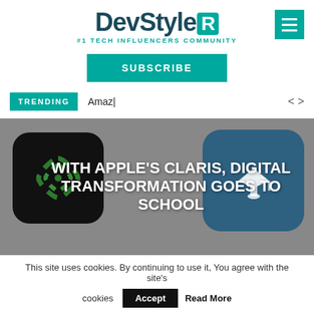[Figure (logo): DevStyleR logo with teal R box and tagline #1 TECH INFLUENCERS COMMUNITY]
[Figure (other): Teal hamburger menu button]
SUBSCRIBE
TRENDING   Amaz|   < >
[Figure (screenshot): Hero banner with two app icons and text: WITH APPLE'S CLARIS, DIGITAL TRANSFORMATION GOES TO SCHOOL on grey background]
This site uses cookies. By continuing to use it, You agree with the site's cookies  Accept  Read More